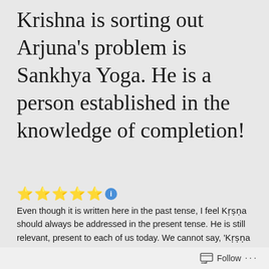Krishna is sorting out Arjuna's problem is Sankhya Yoga. He is a person established in the knowledge of completion!
[Figure (other): Five gold star rating icons followed by a blue information circle icon]
Even though it is written here in the past tense, I feel Kṛṣṇa should always be addressed in the present tense. He is still relevant, present to each of us today. We cannot say, 'Kṛṣṇa was' but 'Kṛṣṇa is', not 'Kṛṣṇa said' but
Follow